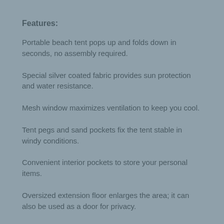Features:
Portable beach tent pops up and folds down in seconds, no assembly required.
Special silver coated fabric provides sun protection and water resistance.
Mesh window maximizes ventilation to keep you cool.
Tent pegs and sand pockets fix the tent stable in windy conditions.
Convenient interior pockets to store your personal items.
Oversized extension floor enlarges the area; it can also be used as a door for privacy.
Pop-up Dimension: (71" + 37") * 79" * 53", spacious enough for 2-4 people, great for beach, park, fishing, camping, sporting events and